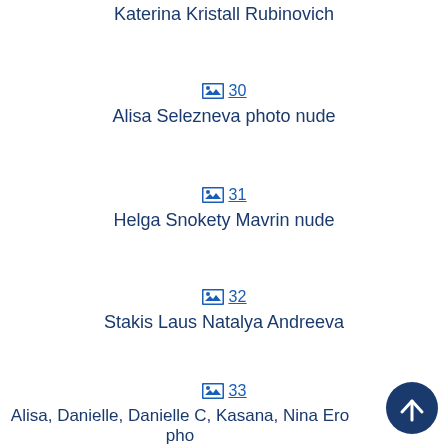Katerina Kristall Rubinovich
[Figure (other): Image icon with number 30, link styled]
Alisa Selezneva photo nude
[Figure (other): Image icon with number 31, link styled]
Helga Snokety Mavrin nude
[Figure (other): Image icon with number 32, link styled]
Stakis Laus Natalya Andreeva
[Figure (other): Image icon with number 33, link styled]
Alisa, Danielle, Danielle C, Kasana, Nina Ero pho
[Figure (other): Back to top button, dark blue circle with upward arrow]